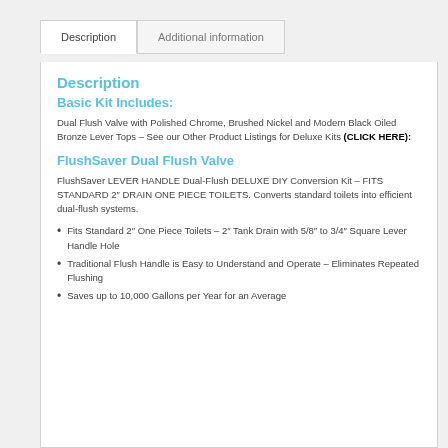Description | Additional information
Description
Basic Kit Includes:
Dual Flush Valve with Polished Chrome, Brushed Nickel and Modern Black Oiled Bronze Lever Tops – See our Other Product Listings for Deluxe Kits (CLICK HERE):
FlushSaver Dual Flush Valve
FlushSaver LEVER HANDLE Dual-Flush DELUXE DIY Conversion Kit – FITS STANDARD 2" DRAIN ONE PIECE TOILETS. Converts standard toilets into efficient dual-flush systems.
Fits Standard 2" One Piece Toilets – 2" Tank Drain with 5/8" to 3/4" Square Lever Handle Hole
Traditional Flush Handle is Easy to Understand and Operate – Eliminates Repeated Flushing
Saves up to 10,000 Gallons per Year for an Average